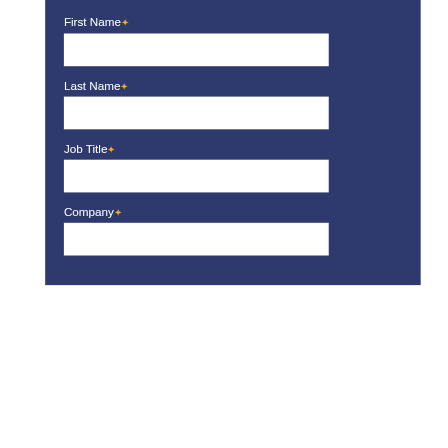First Name*
Last Name*
Job Title*
Company*
Search ...
Recent Posts